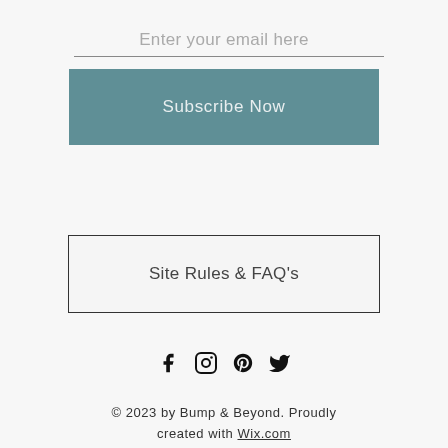Enter your email here
Subscribe Now
Site Rules & FAQ's
[Figure (illustration): Social media icons: Facebook, Instagram, Pinterest, Twitter]
© 2023 by Bump & Beyond. Proudly created with Wix.com